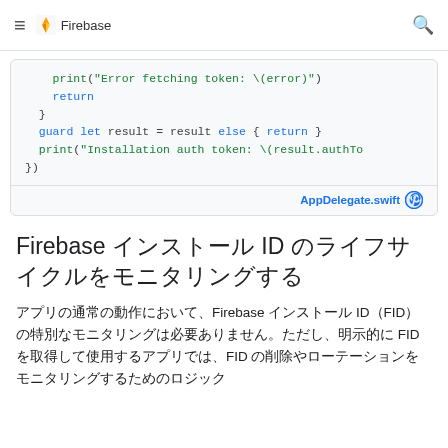≡  Firebase  🔍
[Figure (screenshot): Code block showing Swift code snippet: print error fetching token, return, guard let result, print installation auth token. Footer shows 'AppDelegate.swift' with GitHub icon.]
Firebase インストール ID のライフサイクルをモニタリングする
アプリの通常の動作において、Firebase インストール ID（FID）の特別なモニタリングは必要ありません。ただし、明示的に FID を取得して使用するアプリでは、FID の削除やローテーションをモニタリングするためのロジック